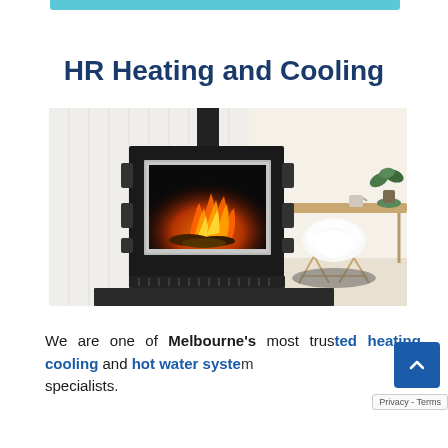HR Heating and Cooling
[Figure (photo): A modern freestanding gas fireplace with a stainless steel frame and black body, showing flames inside. To the right is a white Eames-style chair with a white fur throw, a wooden desk, and a potted plant in the background. Bright, contemporary interior setting.]
We are one of Melbourne's most trusted heating, cooling and hot water system specialists.